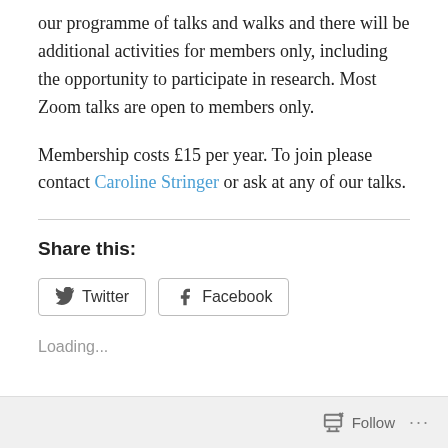our programme of talks and walks and there will be additional activities for members only, including the opportunity to participate in research. Most Zoom talks are open to members only.
Membership costs £15 per year. To join please contact Caroline Stringer or ask at any of our talks.
Share this:
Loading...
Follow ···